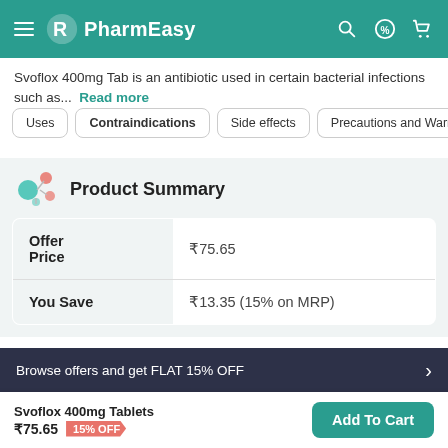PharmEasy
Svoflox 400mg Tab is an antibiotic used in certain bacterial infections such as...  Read more
Uses
Contraindications
Side effects
Precautions and Warnings
Product Summary
|  |  |
| --- | --- |
| Offer Price | ₹75.65 |
| You Save | ₹13.35 (15% on MRP) |
Browse offers and get FLAT 15% OFF
Svoflox 400mg Tablets ₹75.65  15% OFF
Add To Cart